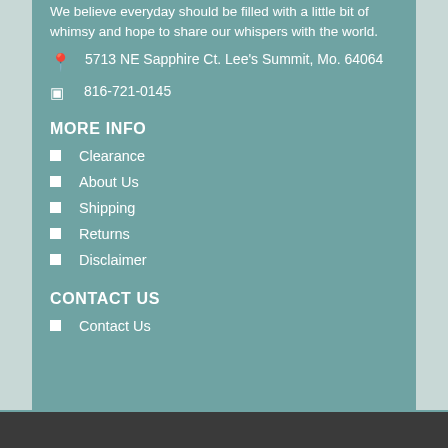We believe everyday should be filled with a little bit of whimsy and hope to share our whispers with the world.
5713 NE Sapphire Ct. Lee's Summit, Mo. 64064
816-721-0145
MORE INFO
Clearance
About Us
Shipping
Returns
Disclaimer
CONTACT US
Contact Us